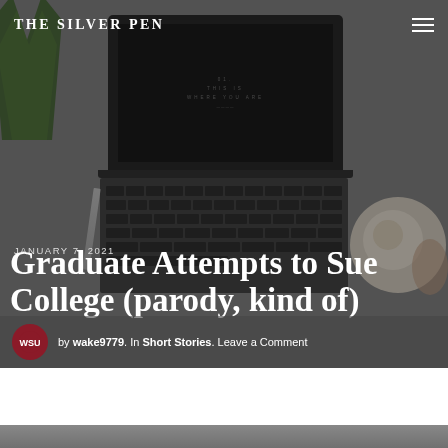THE SILVER PEN
[Figure (photo): Hero image of a laptop on a desk with a plant on the left, a coffee cup on the right, and a pen/pencil nearby. The laptop screen shows stylized text 'THIS IS WHERE YOU ARE'. The overall image is overlaid with a dark semi-transparent filter.]
JANUARY 7, 2021
Graduate Attempts to Sue College (parody, kind of)
by wake9779. In Short Stories. Leave a Comment